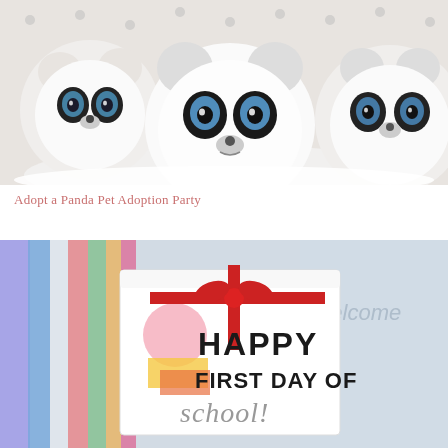[Figure (photo): Multiple small Ty Beanie Boo panda stuffed animals with large blue glittery eyes, black and white plush, sitting together in a white basket or bowl against a polka dot background.]
Adopt a Panda Pet Adoption Party
[Figure (photo): A gift card with a red ribbon bow reading 'HAPPY FIRST DAY OF school!' in bold black and cursive lettering, surrounded by colorful markers and pencils in the background.]